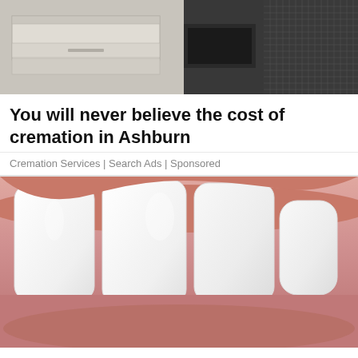[Figure (photo): Photo of a cremation machine or industrial equipment in a dark room]
You will never believe the cost of cremation in Ashburn
Cremation Services | Search Ads | Sponsored
[Figure (photo): Close-up photo of dental implants / white teeth with pink gums]
Ashburn: Dental Implants Are Almost Being